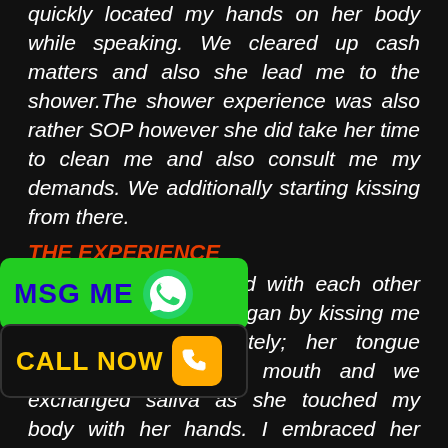quickly located my hands on her body while speaking. We cleared up cash matters and also she lead me to the shower.The shower experience was also rather SOP however she did take her time to clean me and also consult me my demands. We additionally starting kissing from there.
THE EXPERIENCE
Nima and I got to bed with each other after as well as she began by kissing me deeply and passionately; her tongue rolled around in my mouth and we exchanged saliva as she touched my body with her hands. I embraced her lightly made way in the direction of ll as squeezed. Her tits were in smooth; I touched around her as she developed magic with her mouth on
[Figure (other): Green MSG ME button with WhatsApp icon overlay]
[Figure (other): Black CALL NOW button with phone icon in orange/yellow square]